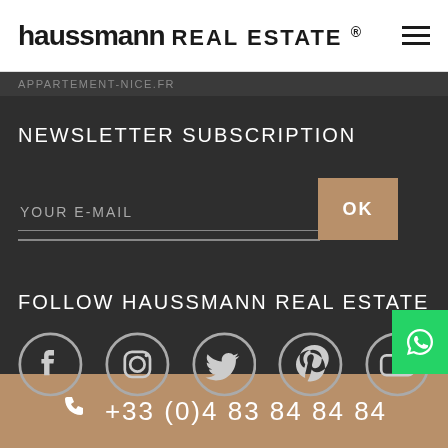haussmann REAL ESTATE ®
APPARTEMENT-NICE.FR
NEWSLETTER SUBSCRIPTION
YOUR E-MAIL
OK
FOLLOW HAUSSMANN REAL ESTATE
[Figure (other): Social media icons: Facebook, Instagram, Twitter, Pinterest, YouTube]
+33 (0)4 83 84 84 84